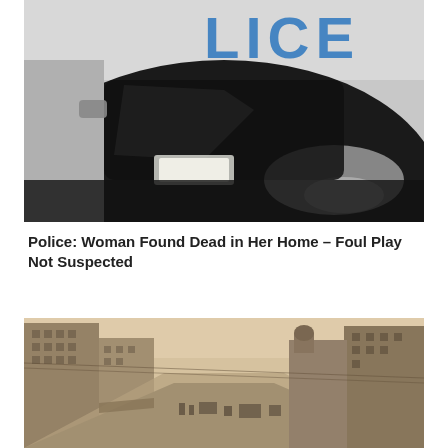[Figure (photo): Close-up of a police car hood and windshield with the partial word LICE in blue letters visible at the top, showing reflections on the dark hood.]
Police: Woman Found Dead in Her Home – Foul Play Not Suspected
[Figure (photo): Vintage sepia-toned photograph of a busy city street with tall buildings on both sides, horse-drawn vehicles and early automobiles, and pedestrians.]